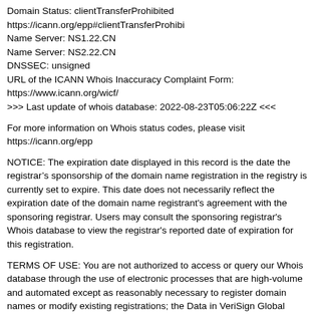Domain Status: clientTransferProhibited https://icann.org/epp#clientTransferProhibi
Name Server: NS1.22.CN
Name Server: NS2.22.CN
DNSSEC: unsigned
URL of the ICANN Whois Inaccuracy Complaint Form: https://www.icann.org/wicf/
>>> Last update of whois database: 2022-08-23T05:06:22Z <<<
For more information on Whois status codes, please visit https://icann.org/epp
NOTICE: The expiration date displayed in this record is the date the registrar’s sponsorship of the domain name registration in the registry is currently set to expire. This date does not necessarily reflect the expiration date of the domain name registrant's agreement with the sponsoring registrar. Users may consult the sponsoring registrar's Whois database to view the registrar's reported date of expiration for this registration.
TERMS OF USE: You are not authorized to access or query our Whois database through the use of electronic processes that are high-volume and automated except as reasonably necessary to register domain names or modify existing registrations; the Data in VeriSign Global Registry Services' ("VeriSign") Whois database is provided by VeriSign for information purposes only, and to assist persons in obtaining information